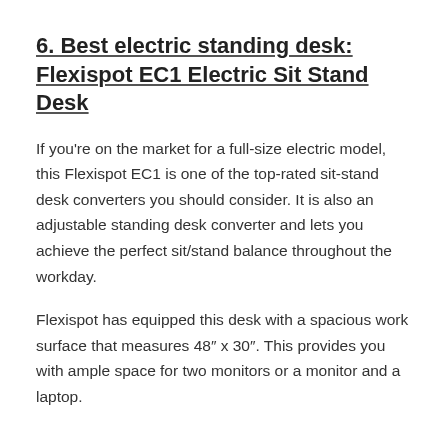6. Best electric standing desk: Flexispot EC1 Electric Sit Stand Desk
If you're on the market for a full-size electric model, this Flexispot EC1 is one of the top-rated sit-stand desk converters you should consider. It is also an adjustable standing desk converter and lets you achieve the perfect sit/stand balance throughout the workday.
Flexispot has equipped this desk with a spacious work surface that measures 48″ x 30″. This provides you with ample space for two monitors or a monitor and a laptop.